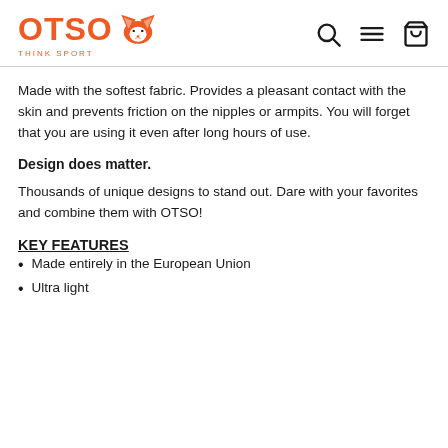OTSO THINK SPORT
Made with the softest fabric. Provides a pleasant contact with the skin and prevents friction on the nipples or armpits. You will forget that you are using it even after long hours of use.
Design does matter.
Thousands of unique designs to stand out. Dare with your favorites and combine them with OTSO!
KEY FEATURES
Made entirely in the European Union
Ultra light